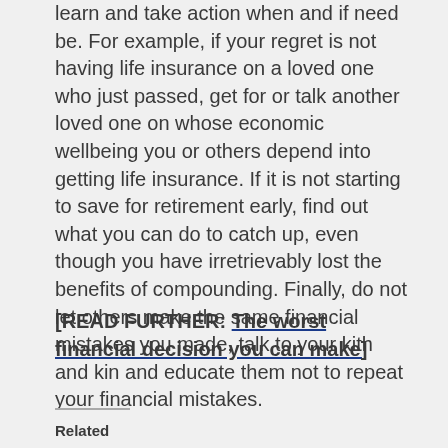learn and take action when and if need be. For example, if your regret is not having life insurance on a loved one who just passed, get for or talk another loved one on whose economic wellbeing you or others depend into getting life insurance. If it is not starting to save for retirement early, find out what you can do to catch up, even though you have irretrievably lost the benefits of compounding. Finally, do not let others make the same financial mistakes you made, talk to your kith and kin and educate them not to repeat your financial mistakes.
[READ FURTHER: The worst financial decision you can make]
Related